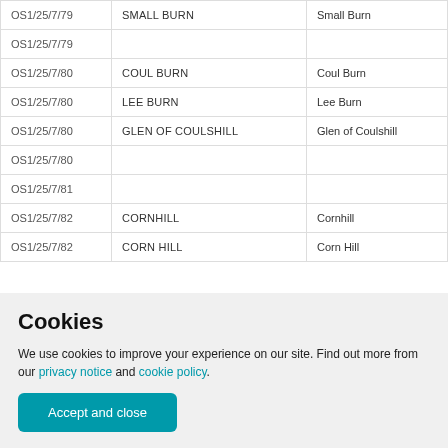| Reference | Name | Modern Form |
| --- | --- | --- |
| OS1/25/7/79 | SMALL BURN | Small Burn |
| OS1/25/7/79 |  |  |
| OS1/25/7/80 | COUL BURN | Coul Burn |
| OS1/25/7/80 | LEE BURN | Lee Burn |
| OS1/25/7/80 | GLEN OF COULSHILL | Glen of Coulshill |
| OS1/25/7/80 |  |  |
| OS1/25/7/81 |  |  |
| OS1/25/7/82 | CORNHILL | Cornhill |
| OS1/25/7/82 | CORN HILL | Corn Hill |
Cookies
We use cookies to improve your experience on our site. Find out more from our privacy notice and cookie policy.
Accept and close